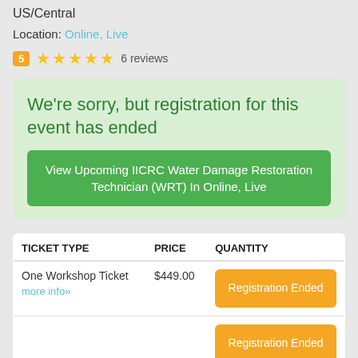US/Central
Location: Online, Live
5 ★★★★★ 6 reviews
We're sorry, but registration for this event has ended
View Upcoming IICRC Water Damage Restoration Technician (WRT) In Online, Live
| TICKET TYPE | PRICE | QUANTITY |
| --- | --- | --- |
| One Workshop Ticket
more info» | $449.00 | Registration Ended |
|  |  | Registration Ended |